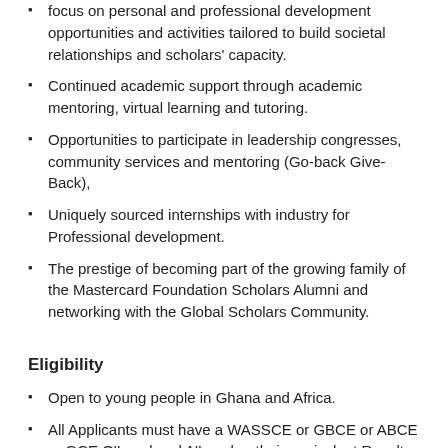focus on personal and professional development opportunities and activities tailored to build societal relationships and scholars' capacity.
Continued academic support through academic mentoring, virtual learning and tutoring.
Opportunities to participate in leadership congresses, community services and mentoring (Go-back Give- Back),
Uniquely sourced internships with industry for Professional development.
The prestige of becoming part of the growing family of the Mastercard Foundation Scholars Alumni and networking with the Global Scholars Community.
Eligibility
Open to young people in Ghana and Africa.
All Applicants must have a WASSCE or GBCE or ABCE or GCE O'Level and A'Level or their equivalent Results from an accredited/recognized institution